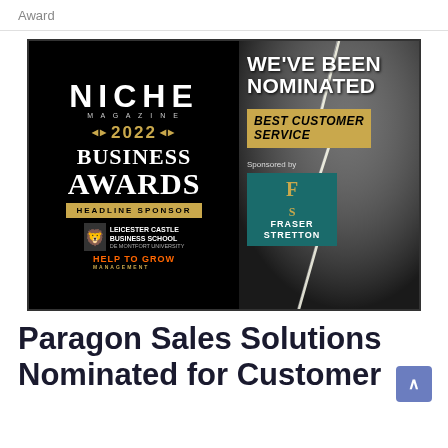Award
[Figure (illustration): Niche Magazine 2022 Business Awards promotional image split into two panels. Left panel (black background): 'NICHE MAGAZINE 2022 BUSINESS AWARDS' with 'HEADLINE SPONSOR' banner, Leicester Castle Business School De Montfort University logo, and 'HELP TO GROW' text. Right panel (stormy lightning background): 'WE'VE BEEN NOMINATED' text, 'BEST CUSTOMER SERVICE' gold banner, 'Sponsored by' text, and Fraser Stretton teal logo box.]
Paragon Sales Solutions Nominated for Customer